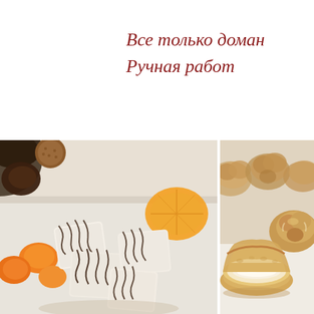Все только доман... Ручная работ...
[Figure (photo): Two food photos side by side: left photo shows white chocolate-drizzled candy squares with kumquats and dark chocolate pieces on a white surface; right photo shows cream puffs/profiteroles, one cut open to reveal cream filling.]